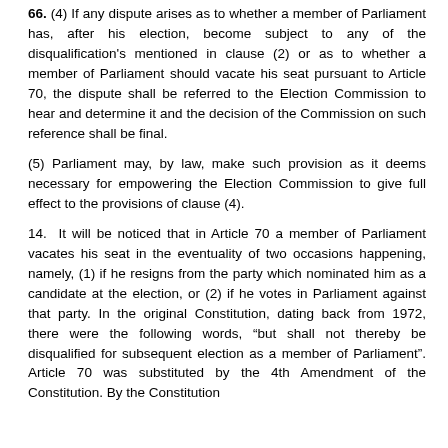66. (4) If any dispute arises as to whether a member of Parliament has, after his election, become subject to any of the disqualification's mentioned in clause (2) or as to whether a member of Parliament should vacate his seat pursuant to Article 70, the dispute shall be referred to the Election Commission to hear and determine it and the decision of the Commission on such reference shall be final.
(5) Parliament may, by law, make such provision as it deems necessary for empowering the Election Commission to give full effect to the provisions of clause (4).
14. It will be noticed that in Article 70 a member of Parliament vacates his seat in the eventuality of two occasions happening, namely, (1) if he resigns from the party which nominated him as a candidate at the election, or (2) if he votes in Parliament against that party. In the original Constitution, dating back from 1972, there were the following words, “but shall not thereby be disqualified for subsequent election as a member of Parliament”. Article 70 was substituted by the 4th Amendment of the Constitution. By the Constitution